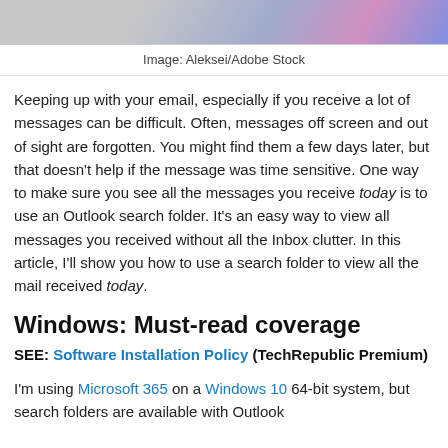[Figure (photo): Partial image visible at top of page with colorful abstract elements]
Image: Aleksei/Adobe Stock
Keeping up with your email, especially if you receive a lot of messages can be difficult. Often, messages off screen and out of sight are forgotten. You might find them a few days later, but that doesn't help if the message was time sensitive. One way to make sure you see all the messages you receive today is to use an Outlook search folder. It's an easy way to view all messages you received without all the Inbox clutter. In this article, I'll show you how to use a search folder to view all the mail received today.
Windows: Must-read coverage
SEE: Software Installation Policy (TechRepublic Premium)
I'm using Microsoft 365 on a Windows 10 64-bit system, but search folders are available with Outlook